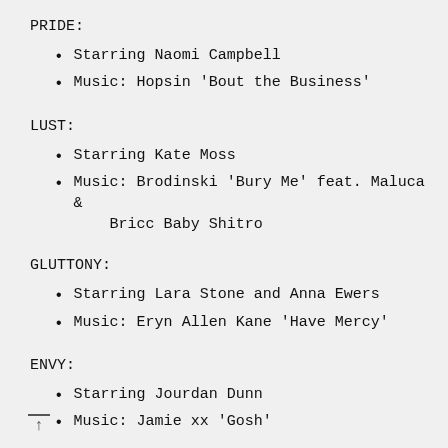PRIDE:
Starring Naomi Campbell
Music: Hopsin 'Bout the Business'
LUST:
Starring Kate Moss
Music: Brodinski 'Bury Me' feat. Maluca & Bricc Baby Shitro
GLUTTONY:
Starring Lara Stone and Anna Ewers
Music: Eryn Allen Kane 'Have Mercy'
ENVY:
Starring Jourdan Dunn
Music: Jamie xx 'Gosh'